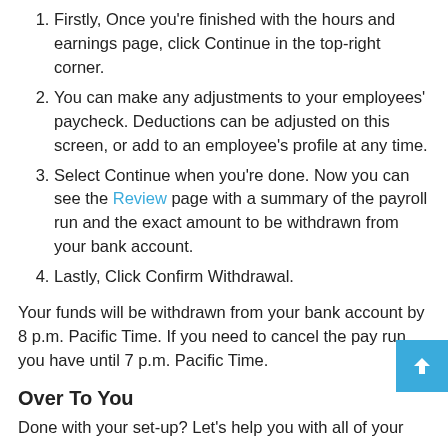Firstly, Once you're finished with the hours and earnings page, click Continue in the top-right corner.
You can make any adjustments to your employees' paycheck. Deductions can be adjusted on this screen, or add to an employee's profile at any time.
Select Continue when you're done. Now you can see the Review page with a summary of the payroll run and the exact amount to be withdrawn from your bank account.
Lastly, Click Confirm Withdrawal.
Your funds will be withdrawn from your bank account by 8 p.m. Pacific Time. If you need to cancel the pay run, you have until 7 p.m. Pacific Time.
Over To You
Done with your set-up? Let's help you with all of your